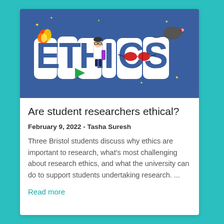[Figure (illustration): Colorful illustration on a dark blue background showing the word ETHICS in large white cartoon letters with various science-themed decorations: a scientist figure standing between letters, flames, a mouse/rat, sunglasses, a ruler, and small star/sparkle elements scattered around.]
Are student researchers ethical?
February 9, 2022  -  Tasha Suresh
Three Bristol students discuss why ethics are important to research, what's most challenging about research ethics, and what the university can do to support students undertaking research. ...
Read more